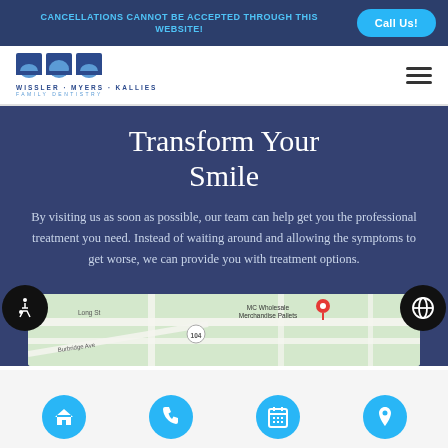CANCELLATIONS CANNOT BE ACCEPTED THROUGH THIS WEBSITE!
Call Us!
[Figure (logo): Wissler Myers Kallies Family Dentistry logo with blue square icons]
Transform Your Smile
By visiting us as soon as possible, our team can help get you the professional treatment you need. Instead of waiting around and allowing the symptoms to get worse, we can provide you with treatment options.
[Figure (map): Google Maps screenshot showing location near Long St and Burbridge Ave with MC Wholesale Merchandise Pallets nearby]
[Figure (infographic): Bottom navigation bar with four cyan circular buttons: home, phone, calendar, location pin icons]